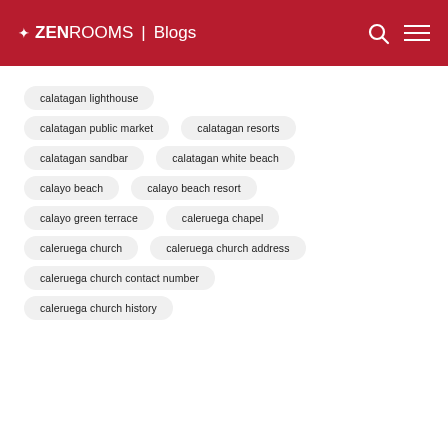ZEN ROOMS | Blogs
calatagan lighthouse
calatagan public market
calatagan resorts
calatagan sandbar
calatagan white beach
calayo beach
calayo beach resort
calayo green terrace
caleruega chapel
caleruega church
caleruega church address
caleruega church contact number
caleruega church history